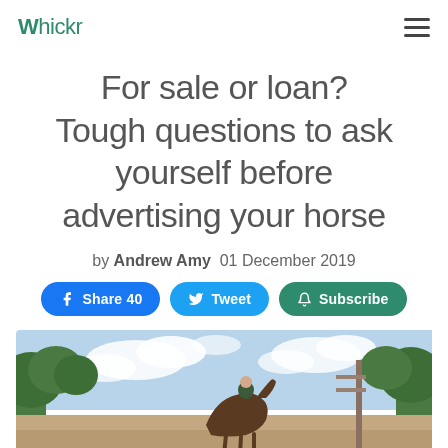Whickr
For sale or loan? Tough questions to ask yourself before advertising your horse
by Andrew Amy  01 December 2019
[Figure (screenshot): Social sharing buttons: Facebook Share 40, Tweet, Subscribe]
[Figure (photo): Outdoor photo showing trees against a cloudy sky with a horse visible, taken at what appears to be an equestrian facility]